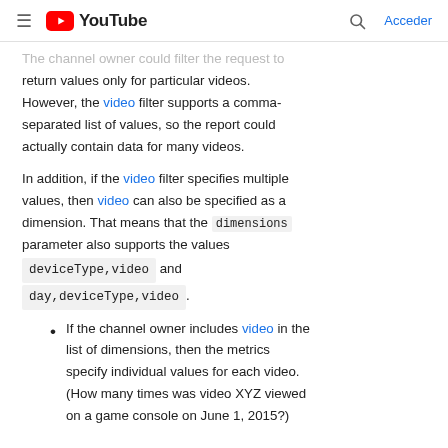≡ YouTube  🔍 Acceder
The channel owner could filter the request to return values only for particular videos. However, the video filter supports a comma-separated list of values, so the report could actually contain data for many videos.
In addition, if the video filter specifies multiple values, then video can also be specified as a dimension. That means that the dimensions parameter also supports the values deviceType,video and day,deviceType,video.
If the channel owner includes video in the list of dimensions, then the metrics specify individual values for each video. (How many times was video XYZ viewed on a game console on June 1, 2015?)